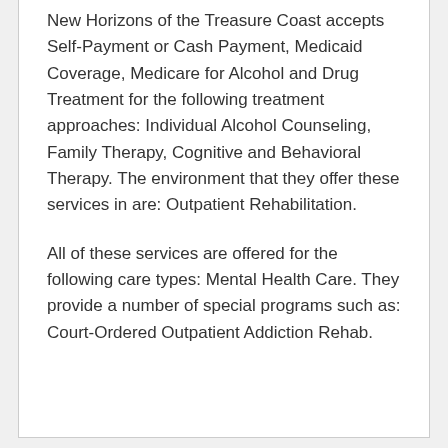New Horizons of the Treasure Coast accepts Self-Payment or Cash Payment, Medicaid Coverage, Medicare for Alcohol and Drug Treatment for the following treatment approaches: Individual Alcohol Counseling, Family Therapy, Cognitive and Behavioral Therapy. The environment that they offer these services in are: Outpatient Rehabilitation.
All of these services are offered for the following care types: Mental Health Care. They provide a number of special programs such as: Court-Ordered Outpatient Addiction Rehab.